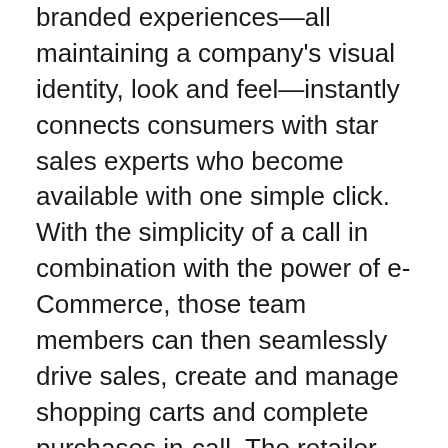branded experiences—all maintaining a company's visual identity, look and feel—instantly connects consumers with star sales experts who become available with one simple click. With the simplicity of a call in combination with the power of e-Commerce, those team members can then seamlessly drive sales, create and manage shopping carts and complete purchases in-call. The retailer also enjoys access real-time business insights and full data at scale relative to the performance of its team, from usage to conversion, to increase revenue opportunities.
“Think about the last time you bought something online ... any purchase where the customer ‘gets’ to talk to a real person on the front line is where value is created or amplified for brands,” added Izabella Naessa, Head of Sales. “It’s exciting to see how this